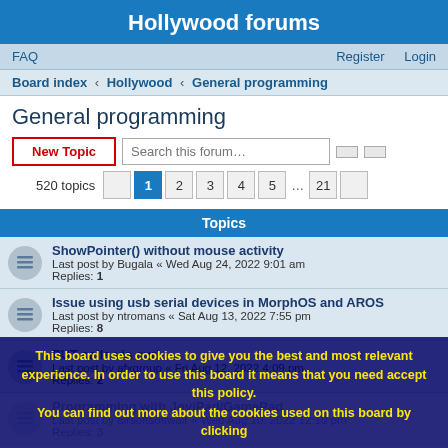Hollywood forums
FAQ   Register   Login
Board index · Hollywood · General programming
General programming
New Topic   Search this forum…
520 topics  1  2  3  4  5  ...  21
Topics
ShowPointer() without mouse activity
Last post by Bugala « Wed Aug 24, 2022 9:01 am
Replies: 1
Issue using usb serial devices in MorphOS and AROS
Last post by ntromans « Sat Aug 13, 2022 7:55 pm
Replies: 8
PUT calls via curl
Last post by afxgroup « Fri Aug 12, 2022 4:09 pm
Replies: 2
Programming with JoviPad/GamePad
Last post by airsoftsoftwair « Wed Aug 10, 2022 12:10 pm
Replies: 3
This board uses cookies to give you the best and most relevant experience. In order to use this board it means that you need accept this policy.
You can find out more about the cookies used on this board by clicking